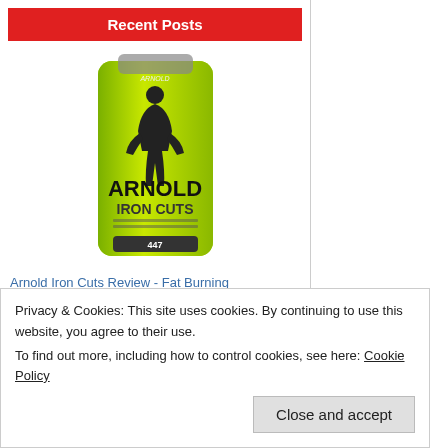Recent Posts
[Figure (photo): Arnold Iron Cuts supplement bottle in bright green/yellow color with silhouette of bodybuilder on label]
Arnold Iron Cuts Review - Fat Burning Supplement
Arnold Iron Cuts is a fat burning supplement manuf [...]
[Figure (photo): Adipril supplement bottle, white container with red label band and bold ADIPRIL text]
Privacy & Cookies: This site uses cookies. By continuing to use this website, you agree to their use.
To find out more, including how to control cookies, see here: Cookie Policy
Close and accept